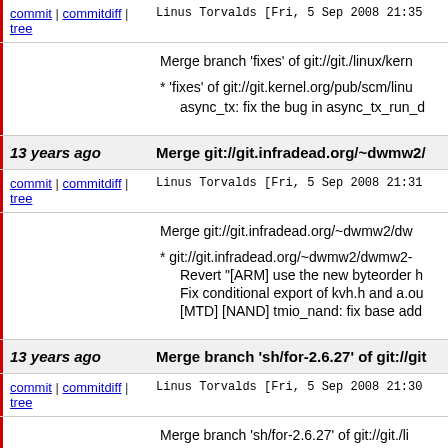commit | commitdiff | tree   Linus Torvalds [Fri, 5 Sep 2008 21:35...]
Merge branch 'fixes' of git://git./linux/kern...
* 'fixes' of git://git.kernel.org/pub/scm/linu...
  async_tx: fix the bug in async_tx_run_d...
13 years ago   Merge git://git.infradead.org/~dwmw2/...
commit | commitdiff | tree   Linus Torvalds [Fri, 5 Sep 2008 21:31...]
Merge git://git.infradead.org/~dwmw2/dw...
* git://git.infradead.org/~dwmw2/dwmw2-...
  Revert "[ARM] use the new byteorder h...
  Fix conditional export of kvh.h and a.ou...
  [MTD] [NAND] tmio_nand: fix base add...
13 years ago   Merge branch 'sh/for-2.6.27' of git://git...
commit | commitdiff | tree   Linus Torvalds [Fri, 5 Sep 2008 21:30...]
Merge branch 'sh/for-2.6.27' of git://git./li...
* 'sh/for-2.6.27' of git://git.kernel.org/pub...